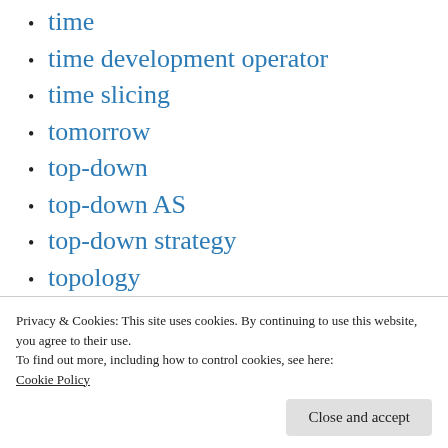time
time development operator
time slicing
tomorrow
top-down
top-down AS
top-down strategy
topology
training
Translation
triggering event
Privacy & Cookies: This site uses cookies. By continuing to use this website, you agree to their use.
To find out more, including how to control cookies, see here: Cookie Policy
trust theory